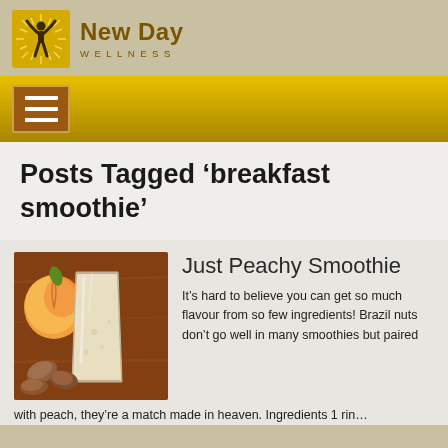[Figure (logo): New Day Wellness logo with a human figure with arms raised and sunburst, text 'New Day WELLNESS']
New Day WELLNESS
[Figure (other): Navigation bar with hamburger menu button]
Posts Tagged ‘breakfast smoothie’
[Figure (photo): Photo of a peach smoothie in a glass with a peach and Brazil nuts on a wooden surface]
Just Peachy Smoothie
It’s hard to believe you can get so much flavour from so few ingredients! Brazil nuts don’t go well in many smoothies but paired with peach, they’re a match made in heaven. Ingredients 1 rin...